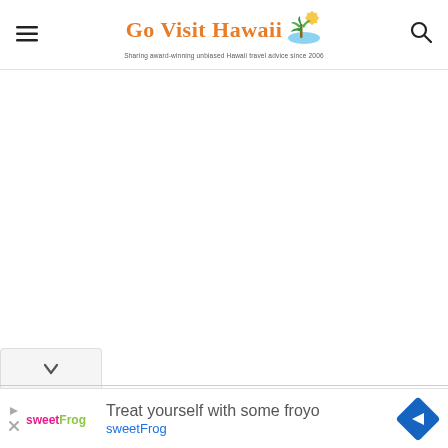Go Visit Hawaii — Sharing award-winning unbiased Hawaii travel advice since 2006
[Figure (other): Large white/blank content area below header]
[Figure (screenshot): sweetFrog advertisement banner with logo, navigation icon, text 'Treat yourself with some froyo' and 'sweetFrog']